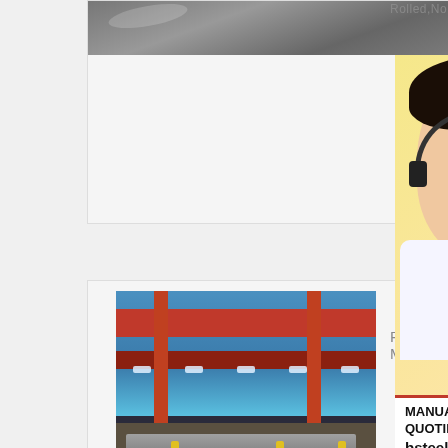[Figure (photo): Steel plate surface close-up photo, top of page]
Rolled,Normalize
[Figure (photo): Industrial steel warehouse interior with overhead crane, red beams, steel plate stacks, yellow safety posts]
[Figure (photo): Customer service representative (Asian woman with headset) overlaid on right side of page with contact interface]
E-mail
MANUAL SE...
QUOTING O...
bsteel1@163.com
Read More